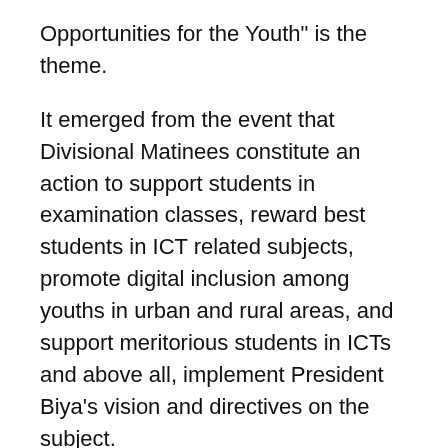Opportunities for the Youth" is the theme.
It emerged from the event that Divisional Matinees constitute an action to support students in examination classes, reward best students in ICT related subjects, promote digital inclusion among youths in urban and rural areas, and support meritorious students in ICTs and above all, implement President Biya's vision and directives on the subject.
The Mayor of Ndop Council, Mbombo Abel Chenyi and the education family of Ngoketungia Division acknowledged generosity demonstrated by the government and showcased gratitude with warm words policies that inspire hope towards a digital